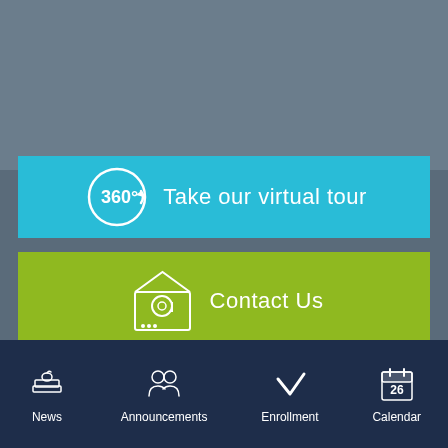[Figure (infographic): Cyan banner with 360-degree icon and text 'Take our virtual tour']
[Figure (infographic): Green banner with email/contact icon and text 'Contact Us']
[Figure (infographic): Purple banner with clipboard/admission icon and text 'Admission process']
[Figure (infographic): Dark navy bottom navigation bar with four icons: News, Announcements, Enrollment, Calendar]